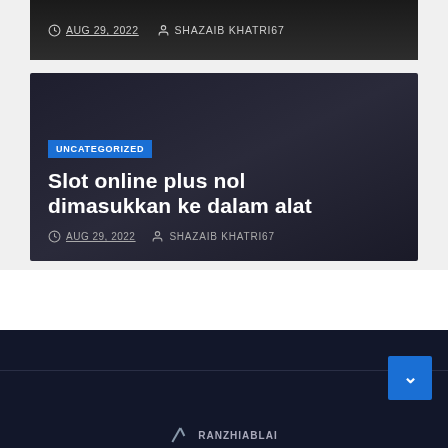AUG 29, 2022  SHAZAIB KHATRI67
[Figure (screenshot): Dark blog card with category badge UNCATEGORIZED and article title 'Slot online plus nol dimasukkan ke dalam alat', dated AUG 29, 2022 by SHAZAIB KHATRI67]
Slot online plus nol dimasukkan ke dalam alat
AUG 29, 2022  SHAZAIB KHATRI67
[Figure (screenshot): Blue scroll-to-top button with upward arrow chevron in bottom right corner]
RANZHIABLAI